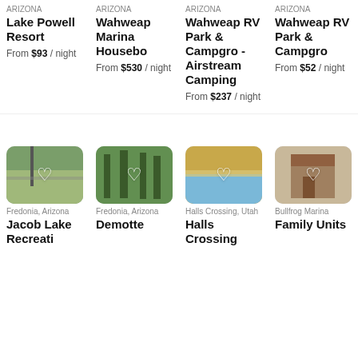ARIZONA - Lake Powell Resort - From $93 / night
ARIZONA - Wahweap Marina Houseboat - From $530 / night
ARIZONA - Wahweap RV Park & Campground - Airstream Camping - From $237 / night
ARIZONA - Wahweap RV Park & Campground - From $52 / night
[Figure (photo): Forest road photo - Fredonia, Arizona - Jacob Lake Recreation]
[Figure (photo): Pine forest photo - Fredonia, Arizona - Demotte]
[Figure (photo): Desert lake photo - Halls Crossing, Utah - Halls Crossing]
[Figure (photo): Cabin/building photo - Bullfrog Marina - Family Units]
Fredonia, Arizona - Jacob Lake Recreati...
Fredonia, Arizona - Demotte
Halls Crossing, Utah - Halls Crossing
Bullfrog Marina - Family Units